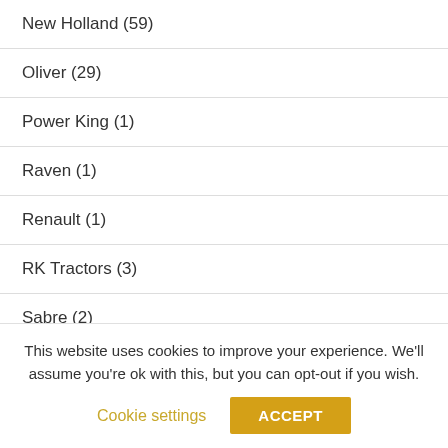New Holland (59)
Oliver (29)
Power King (1)
Raven (1)
Renault (1)
RK Tractors (3)
Sabre (2)
SAME (1)
Satoh (2)
Scotts (5)
This website uses cookies to improve your experience. We'll assume you're ok with this, but you can opt-out if you wish.